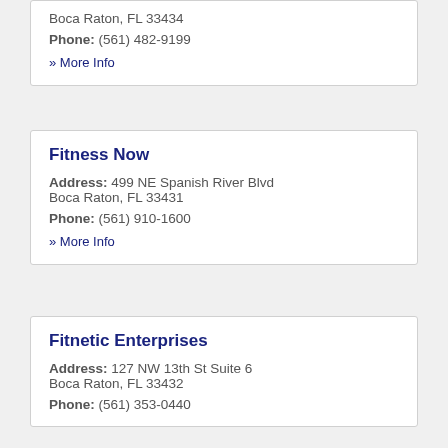Boca Raton, FL 33434
Phone: (561) 482-9199
» More Info
Fitness Now
Address: 499 NE Spanish River Blvd Boca Raton, FL 33431
Phone: (561) 910-1600
» More Info
Fitnetic Enterprises
Address: 127 NW 13th St Suite 6 Boca Raton, FL 33432
Phone: (561) 353-0440